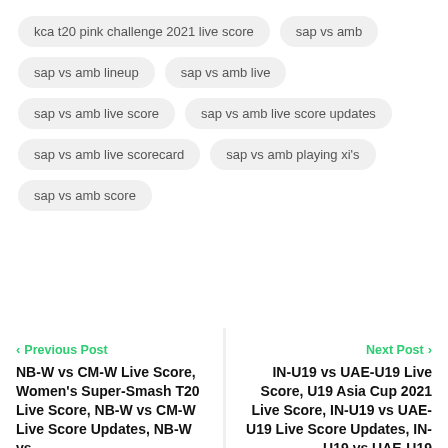kca t20 pink challenge 2021 live score
sap vs amb
sap vs amb lineup
sap vs amb live
sap vs amb live score
sap vs amb live score updates
sap vs amb live scorecard
sap vs amb playing xi's
sap vs amb score
< Previous Post
NB-W vs CM-W Live Score, Women's Super-Smash T20 Live Score, NB-W vs CM-W Live Score Updates, NB-W vs
Next Post >
IN-U19 vs UAE-U19 Live Score, U19 Asia Cup 2021 Live Score, IN-U19 vs UAE-U19 Live Score Updates, IN-U19 vs UAE-U19